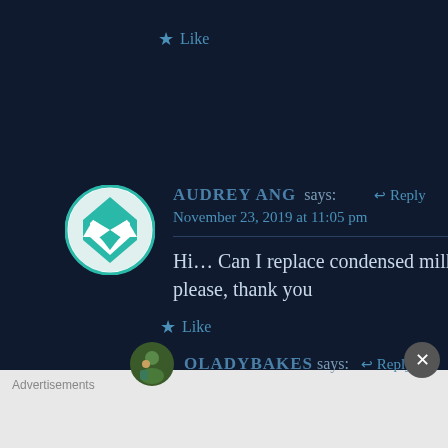★ Like
AUDREY ANG says: ↩ Reply
November 23, 2019 at 11:05 pm
Hi… Can I replace condensed milk to sugar please, thank you
★ Like
OLADYBAKES says: ↩ Reply
Advertisements